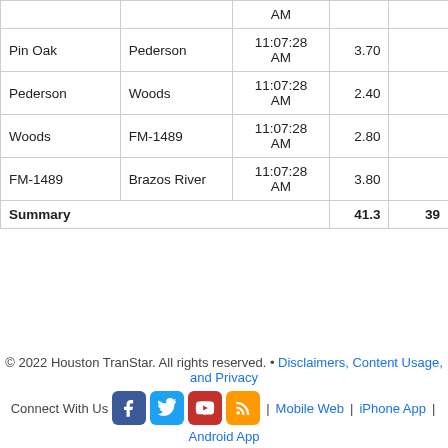|  |  | AM |  |  |
| --- | --- | --- | --- | --- |
| Pin Oak | Pederson | 11:07:28 AM | 3.70 |  |
| Pederson | Woods | 11:07:28 AM | 2.40 |  |
| Woods | FM-1489 | 11:07:28 AM | 2.80 |  |
| FM-1489 | Brazos River | 11:07:28 AM | 3.80 |  |
| Summary |  |  | 41.3 | 39 |
© 2022 Houston TranStar. All rights reserved. • Disclaimers, Content Usage, and Privacy
Connect With Us | Mobile Web | iPhone App | Android App